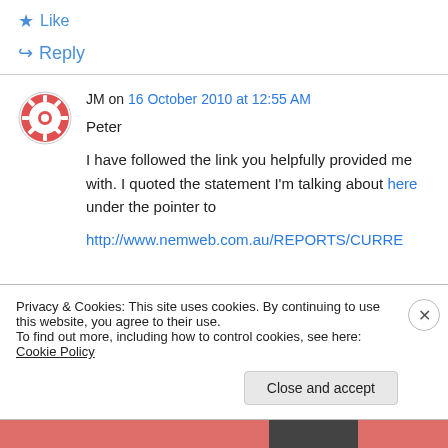★ Like
↪ Reply
JM on 16 October 2010 at 12:55 AM
Peter

I have followed the link you helpfully provided me with. I quoted the statement I'm talking about here under the pointer to http://www.nemweb.com.au/REPORTS/CURRE
Privacy & Cookies: This site uses cookies. By continuing to use this website, you agree to their use.
To find out more, including how to control cookies, see here: Cookie Policy
Close and accept